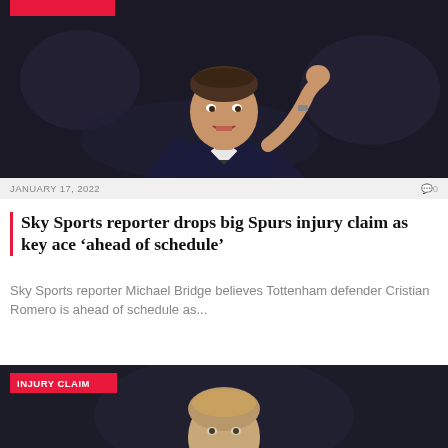[Figure (photo): A man in a dark suit gesturing with a fist raised, photographed against a blurred dark background with crowd]
JANUARY 17, 2022
0
Sky Sports reporter drops big Spurs injury claim as key ace ‘ahead of schedule’
Sky Sports reporter Michael Bridge believes Tottenham defender Cristian Romero is ahead of schedule as...
[Figure (photo): Young man with light hair, photographed against a dark blurred background, with INJURY CLAIM badge overlay]